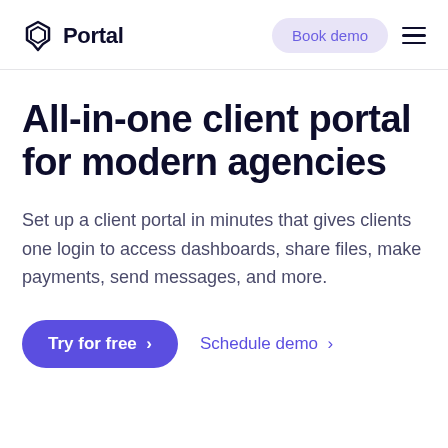Portal — Book demo
All-in-one client portal for modern agencies
Set up a client portal in minutes that gives clients one login to access dashboards, share files, make payments, send messages, and more.
Try for free >
Schedule demo >